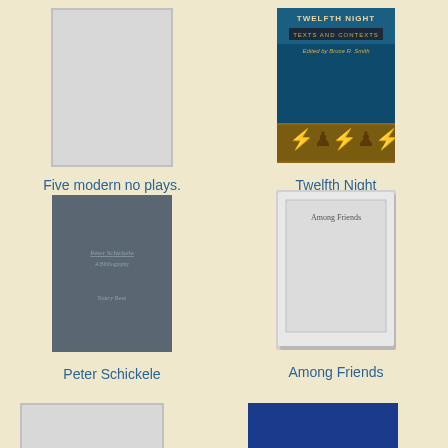[Figure (illustration): Gray placeholder book cover for Five modern no plays]
Five modern no plays.
[Figure (illustration): Twelfth Night book cover with teal/dark blue background, showing 'TWELFTH NIGHT', 'Texts and Contexts', 'Edited by Bruce R. Smith', and decorative medieval figures at bottom]
Twelfth Night
[Figure (illustration): Dark gray/slate blue book cover for Peter Schickele: A Bibliography by Nancy Rees]
Peter Schickele
[Figure (illustration): Light gray book cover placeholder with 'Among Friends' text visible]
Among Friends
[Figure (illustration): Partial gray placeholder book cover visible at bottom left]
[Figure (illustration): Partial dark blue book cover visible at bottom right]